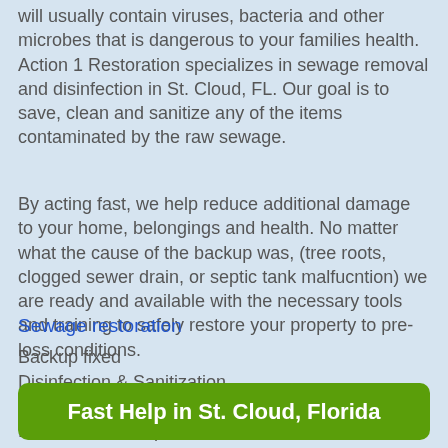will usually contain viruses, bacteria and other microbes that is dangerous to your families health. Action 1 Restoration specializes in sewage removal and disinfection in St. Cloud, FL. Our goal is to save, clean and sanitize any of the items contaminated by the raw sewage.
By acting fast, we help reduce additional damage to your home, belongings and health. No matter what the cause of the backup was, (tree roots, clogged sewer drain, or septic tank malfucntion) we are ready and available with the necessary tools and training to safely restore your property to pre-loss conditions.
Sewage restoration
Backup fixed
Disinfection & Sanitization
Furniture & content cleaning
Rebuild & cleanup
Fast Help in St. Cloud, Florida